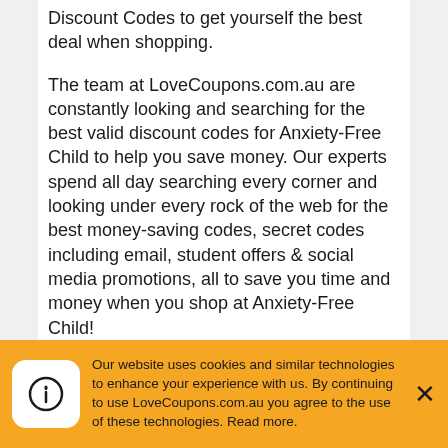Discount Codes to get yourself the best deal when shopping.
The team at LoveCoupons.com.au are constantly looking and searching for the best valid discount codes for Anxiety-Free Child to help you save money. Our experts spend all day searching every corner and looking under every rock of the web for the best money-saving codes, secret codes including email, student offers & social media promotions, all to save you time and money when you shop at Anxiety-Free Child!
Stores like Anxiety-Free Child often offer Promotional Codes, Voucher Codes, Coupon
Our website uses cookies and similar technologies to enhance your experience with us. By continuing to use LoveCoupons.com.au you agree to the use of these technologies. Read more.